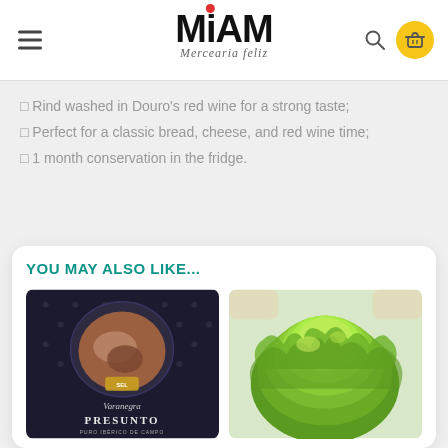[Figure (logo): MIAM Mercearia Feliz logo with hamburger menu, search icon, and yellow basket button]
✓ Rind washed in Douro's red wine for a strong taste;
✓ Perfect for a classic bread, cheese, and red wine time;
✓ 1 month conservation in the fridge.
YOU MAY ALSO LIKE...
[Figure (photo): Varanegra Presunto packaged product in dark premium packaging]
[Figure (photo): Fresh green lettuce head held by hands]